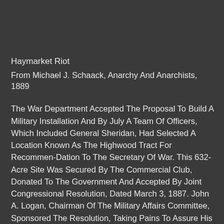Haymarket Riot
From Michael J. Schaack, Anarchy And Anarchists, 1889
The War Department Accepted The Proposal To Build A Military Installation And By July A Team Of Officers, Which Included General Sheridan, Had Selected A Location Known As The Highwood Tract For Recommen-Dation To The Secretary Of War. This 632-Acre Site Was Secured By The Commercial Club, Donated To The Government And Accepted By Joint Congressional Resolution, Dated March 3, 1887. John A. Logan, Chairman Of The Military Affairs Committee, Sponsored The Resolution, Taking Pains To Assure His Opponents That The Acreage Was Truly A Gift And That The Army Was Requesting No Additional Appropriation.8 The Deed For The Property Was Signed October 6, 1887.9 Legally, The Commercial Club Could Neither Own Nor Donate Real Property And, In Fact, The Commercial Club Of Chicago Is Not Mentioned In The Deed.10 A Commercial Club Consortium Of Adolphus C. Bartlett, Charles L. Hutchinson, And John J. Janes And Their Wives Acted As Intermediaries And Served As Grantors Named In The Deed.